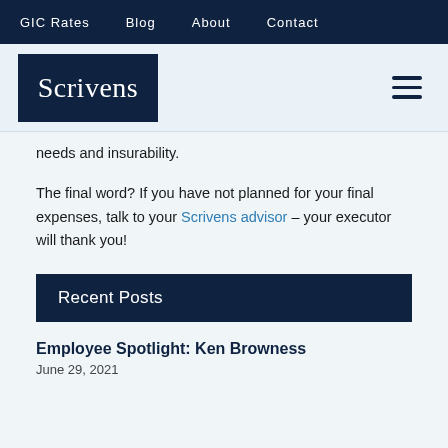GIC Rates   Blog   About   Contact
[Figure (logo): Scrivens logo — white serif text on dark navy background]
needs and insurability.
The final word? If you have not planned for your final expenses, talk to your Scrivens advisor – your executor will thank you!
Recent Posts
Employee Spotlight: Ken Browness
June 29, 2021